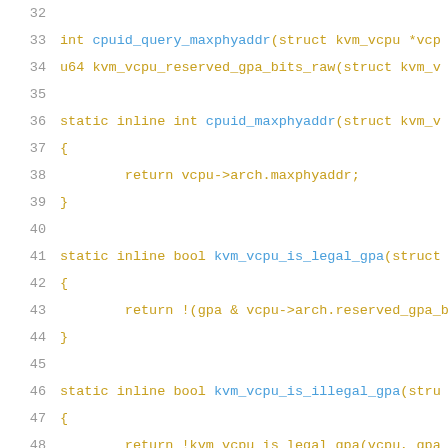[Figure (screenshot): Source code listing in a monospace editor/viewer showing C code for KVM vcpu helper functions, lines 32-52. Functions shown: cpuid_query_maxphyaddr, kvm_vcpu_reserved_gpa_bits_raw, cpuid_maxphyaddr (static inline), kvm_vcpu_is_legal_gpa (static inline), kvm_vcpu_is_illegal_gpa (static inline), kvm_vcpu_is_legal_aligned_gpa (static inline). Line numbers shown in grey, code in amber/gold color on white background.]